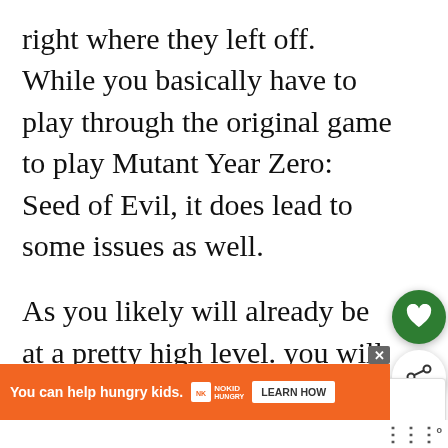right where they left off. While you basically have to play through the original game to play Mutant Year Zero: Seed of Evil, it does lead to some issues as well.
As you likely will already be at a pretty high level. you will have unlocked all of the abilities and already have a pretty powerful arsenal. This creates a problem for the DLC as gaining levels and acquiring weapons becomes kind of pointless. The game introduces ability upgrades for all of the characters. These upgrades make the abilities more powerful, although...
[Figure (other): Heart (save/like) button circle in green, and share button circle in white with shadow, floating on the right side of the page]
[Figure (other): WHAT'S NEXT panel showing a thumbnail image of Fort Triumph Indie Video game with label text]
[Figure (other): Advertisement banner: orange background, text 'You can help hungry kids.' with NOKID HUNGRY logo and LEARN HOW button, with close X button]